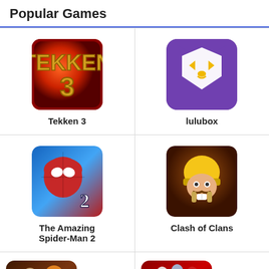Popular Games
[Figure (screenshot): Tekken 3 game icon - red/orange logo with number 3]
Tekken 3
[Figure (screenshot): Lulubox app icon - purple square with white cat/mask face and yellow eyes]
lulubox
[Figure (screenshot): The Amazing Spider-Man 2 game icon - Spider-Man in red suit with number 2]
The Amazing Spider-Man 2
[Figure (screenshot): Clash of Clans game icon - barbarian character with yellow helmet]
Clash of Clans
[Figure (screenshot): Tekken game icon - fighter with tiger, partially visible]
[Figure (screenshot): eFootball 2022 game icon - football players with Messi, partially visible]